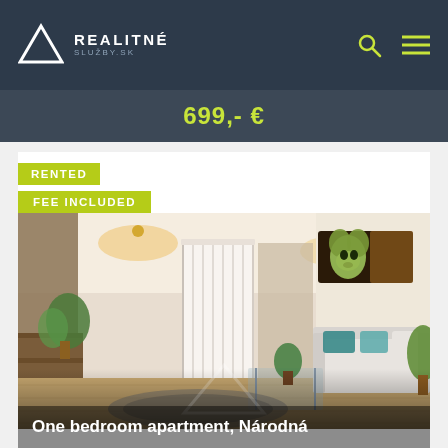REALITNÉ SLUŽBY.SK
699,- €
RENTED
FEE INCLUDED
[Figure (photo): Interior of a modern one-bedroom apartment with wooden floor, white walls, a sofa with teal pillows, folding door, houseplants, a glass coffee table, and a Baby Yoda painting on the wall. Realitné Služby watermark overlay visible.]
One bedroom apartment, Národná